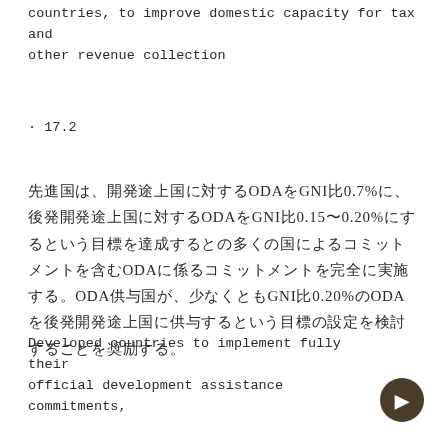countries, to improve domestic capacity for tax and other revenue collection
· 17.2
先進国は、開発途上国に対するODAをGNI比0.7%に、後発開発途上国に対するODAをGNI比0.15〜0.20%にするという目標を達成するとの多くの国によるコミットメントを含むODAに係るコミットメントを完全に実施する。ODA供与国が、少なくともGNI比0.20%のODAを後発開発途上国に供与するという目標の設定を検討することを奨励する。
Developed countries to implement fully their official development assistance commitments,